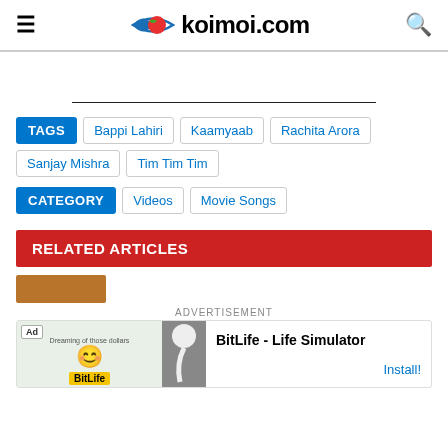koimoi.com
TAGS: Bappi Lahiri, Kaamyaab, Rachita Arora, Sanjay Mishra, Tim Tim Tim
CATEGORY: Videos, Movie Songs
RELATED ARTICLES
ADVERTISEMENT
BitLife - Life Simulator Install!